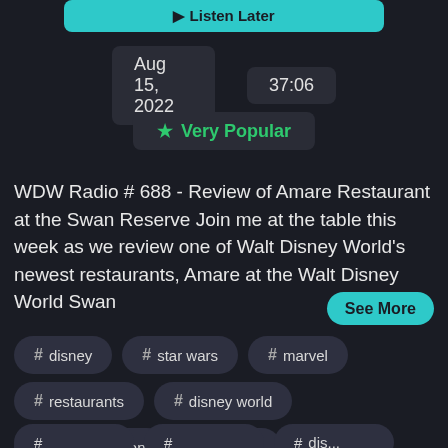[Figure (screenshot): Listen Later button (teal/cyan rounded rectangle)]
Aug 15, 2022    37:06
★ Very Popular
WDW Radio # 688 - Review of Amare Restaurant at the Swan Reserve Join me at the table this week as we review one of Walt Disney World's newest restaurants, Amare at the Walt Disney World Swan
See More
# disney
# star wars
# marvel
# restaurants
# disney world
# mediterranean
# reserve